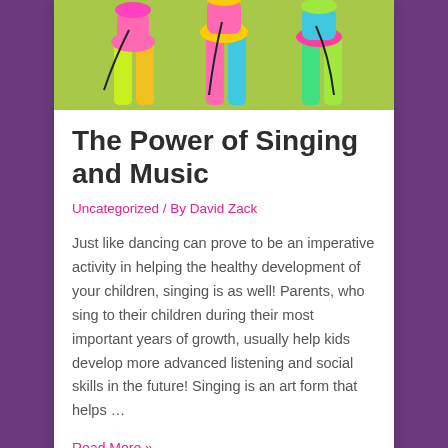[Figure (photo): Colorful photo of children/performers in bright neon outfits (green, pink, blue) against a green background, partially visible at the top of the card]
The Power of Singing and Music
Uncategorized / By David Zack
Just like dancing can prove to be an imperative activity in helping the healthy development of your children, singing is as well! Parents, who sing to their children during their most important years of growth, usually help kids develop more advanced listening and social skills in the future! Singing is an art form that helps …
Read More »